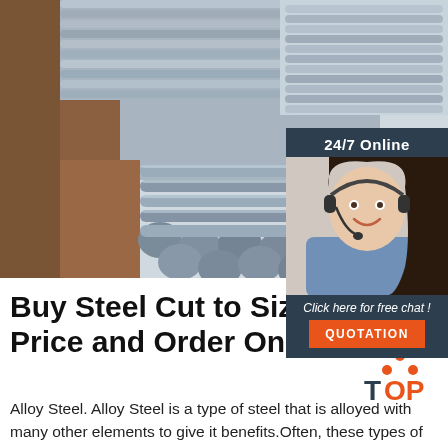[Figure (photo): Stacked steel alloy bars/rods photographed at a construction or industrial site, with some earth visible in the background.]
[Figure (photo): Customer service representative (woman with headset and smile) with dark background panel showing '24/7 Online' text, 'Click here for free chat!' text, and an orange QUOTATION button.]
Buy Steel Cut to Size - Price and Order Online
[Figure (logo): Orange and dark blue TOP logo with orange dots arranged in a triangle above the word TOP (T in dark blue, OP in orange).]
Alloy Steel. Alloy Steel is a type of steel that is alloyed with many other elements to give it benefits.Often, these types of steel have higher